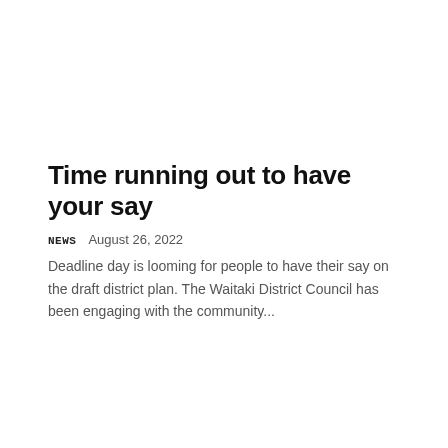Time running out to have your say
NEWS   August 26, 2022
Deadline day is looming for people to have their say on the draft district plan. The Waitaki District Council has been engaging with the community...